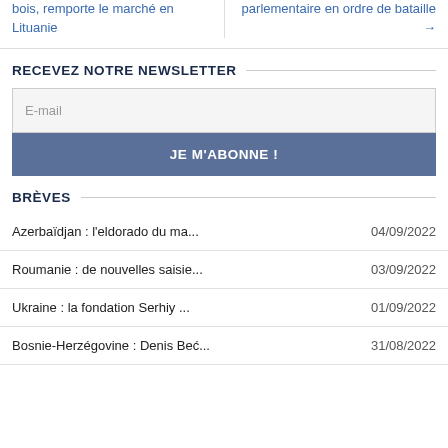bois, remporte le marché en Lituanie
parlementaire en ordre de bataille →
RECEVEZ NOTRE NEWSLETTER
E-mail
JE M'ABONNE !
BRÈVES
Azerbaïdjan : l'eldorado du ma...  04/09/2022
Roumanie : de nouvelles saisie...  03/09/2022
Ukraine : la fondation Serhiy ...  01/09/2022
Bosnie-Herzégovine : Denis Beć...  31/08/2022